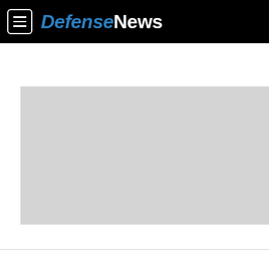DefenseNews
[Figure (photo): Gray placeholder image of carrier Nimitz returning to its homeport of Bremerton, Wash., after a six-month deployment.]
The carrier Nimitz returns to its homeport of Bremerton, Wash., after a six-month deployment. (MC3 Dakota Rayburn/Navy)
WASHINGTON — Achieving a 355-ship Navy is now national policy, but the goal is still a long way off.